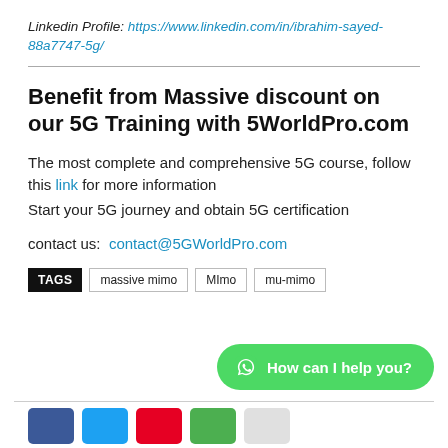Linkedin Profile: https://www.linkedin.com/in/ibrahim-sayed-88a7747-5g/
Benefit from Massive discount on our 5G Training with 5WorldPro.com
The most complete and comprehensive 5G course, follow this link for more information
Start your 5G journey and obtain 5G certification
contact us:  contact@5GWorldPro.com
TAGS  massive mimo  MImo  mu-mimo
[Figure (other): WhatsApp chat button with text 'How can I help you?']
[Figure (other): Social media share buttons row: Facebook, Twitter, Pinterest, Google+, and one more]